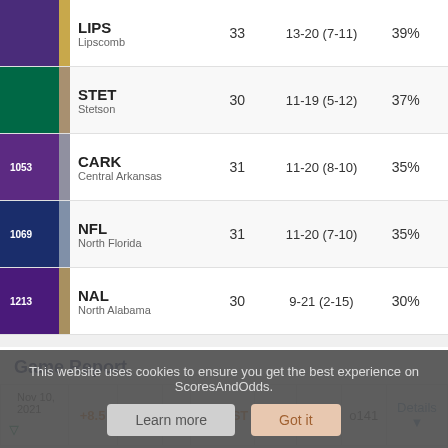| Team | Score | Record | Pct |
| --- | --- | --- | --- |
| LIPS Lipscomb | 33 | 13-20 (7-11) | 39% |
| STET Stetson | 30 | 11-19 (5-12) | 37% |
| 1053 CARK Central Arkansas | 31 | 11-20 (8-10) | 35% |
| 1069 NFL North Florida | 31 | 11-20 (7-10) | 35% |
| 1213 NAL North Alabama | 30 | 9-21 (2-15) | 30% |
Game Report
| Date | Spread | Away |  | Home | Spread2 | Score | OU | Details |
| --- | --- | --- | --- | --- | --- | --- | --- | --- |
| Nov 10, 2021 | +8.5 | JSU | @ | WICHST | -8.5 | 57-60 | o141 | Details |
This website uses cookies to ensure you get the best experience on ScoresAndOdds.